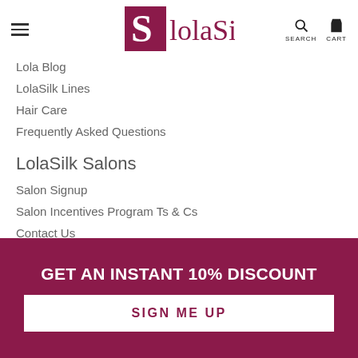LolaSilk logo, SEARCH, CART
Lola Blog
LolaSilk Lines
Hair Care
Frequently Asked Questions
LolaSilk Salons
Salon Signup
Salon Incentives Program Ts & Cs
Contact Us
Quick Links
GET AN INSTANT 10% DISCOUNT
SIGN ME UP